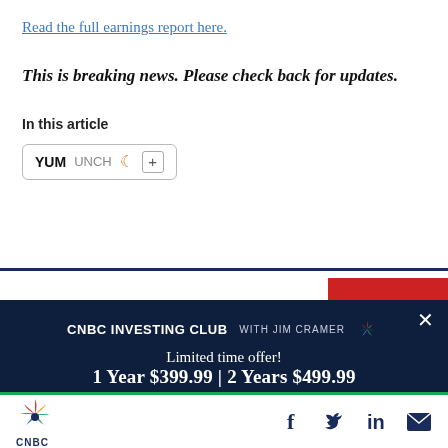Read the full earnings report here.
This is breaking news. Please check back for updates.
In this article
[Figure (infographic): YUM UNCH ticker box with moon icon and plus button]
[Figure (infographic): CNBC Investing Club with Jim Cramer promotional modal overlay showing Limited time offer! 1 Year $399.99 | 2 Years $499.99 with Become a Member button]
[Figure (logo): CNBC logo with peacock graphic at bottom bar with social media icons for Facebook, Twitter, LinkedIn, and Email]